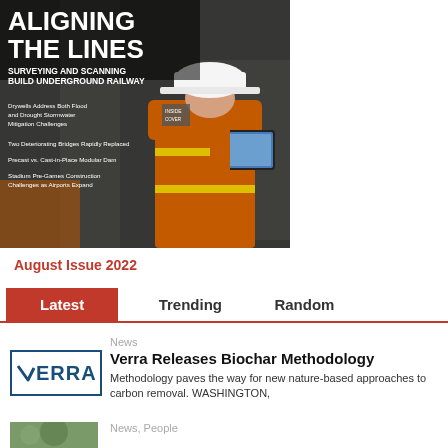[Figure (photo): Magazine cover showing a construction worker in orange hi-vis vest and white hard hat using a tablet device inside an underground tunnel. Bold white text reads: ALIGNING THE LINES – SURVEYING AND SCANNING BUILD UNDERGROUND RAILWAY. Additional article teasers listed below the headline.]
August Issue 2022
Latest    Trending    Random
News
[Figure (logo): VERRA logo in blue text inside a blue rectangle border]
Verra Releases Biochar Methodology
Methodology paves the way for new nature-based approaches to carbon removal.  WASHINGTON,
News, People